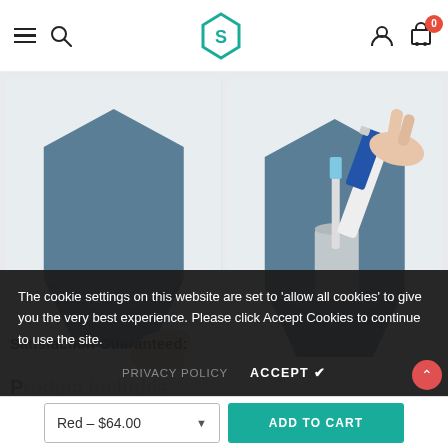Navigation bar with hamburger menu, search icon, S logo, account icon, cart (0)
[Figure (photo): Two product photos side by side: left shows a hand placing a blue hexagonal geometric wall-mount storage box on a wall; right shows the same box mounted on wall containing a toothbrush cup and Sensodyne toothpaste tube.]
The cookie settings on this website are set to 'allow all cookies' to give you the very best experience. Please click Accept Cookies to continue to use the site.
PRIVACY POLICY    ACCEPT ✔
1x Floating Wa...
Satisfaction Guaranteed:
Red - $64.00   ADD TO CART